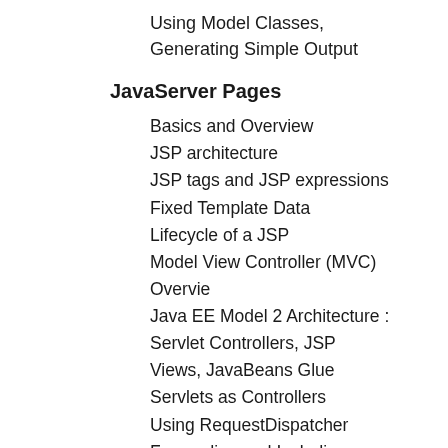Using Model Classes, Generating Simple Output
JavaServer Pages
Basics and Overview
JSP architecture
JSP tags and JSP expressions
Fixed Template Data
Lifecycle of a JSP
Model View Controller (MVC) Overvie
Java EE Model 2 Architecture : Servlet Controllers, JSP Views, JavaBeans Glue
Servlets as Controllers
Using RequestDispatcher
Forwarding and Including
Data Sharing in a Web App
Object scopes or "buckets"
Using JavaBeans to Hold Data
Using the Scope Objects - get/set/remove Attributes